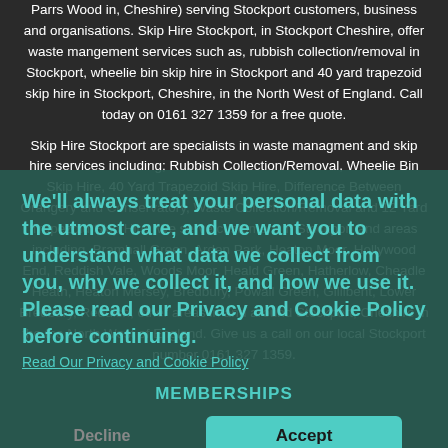Parrs Wood in, Cheshire) serving Stockport customers, business and organisations. Skip Hire Stockport, in Stockport Cheshire, offer waste mangement services such as, rubbish collection/removal in Stockport, wheelie bin skip hire in Stockport and 40 yard trapezoid skip hire in Stockport, Cheshire, in the North West of England. Call today on 0161 327 1359 for a free quote.
Skip Hire Stockport are specialists in waste managment and skip hire services including; Rubbish Collection/Removal, Wheelie Bin Skip Hire, 40 Yard Trapezoid Skip Hire, Difference Between Orangery and Conservatory, Waste Collection/Removal and 12 Yard Trapezoid Skip Hire. We serve customers in Stockport and areas including, Bramhall Green, Arden Park, Heaton Moor, Hollywood End, Reddish Vale, Woods Moor, Heald Green, Hatherlow, Cheadle Heath, Heaton Mersey, Bredbury, Powall Green, Gillibent, Lower Bredbury, Reddish, other areas in and around Stockport, Cheshire in the the North West of England. Give us a call on our local Stockport number 0161 327 1359.
We'll always treat your personal data with the utmost care, and we want you to understand what data we collect from you, why we collect it, and how we use it. Please read our Privacy and Cookie Policy before continuing.
Read Our Privacy and Cookie Policy
MEMBERSHIPS
Decline
Accept
Skip Hire Stockport are member of the National Construction Council - http://www.ncc.org.uk